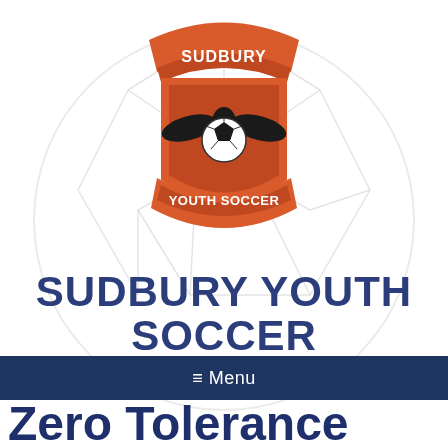[Figure (logo): Sudbury Youth Soccer logo: red shield/banner shape with 'SUDBURY' text on top banner, a bird/eagle with spread wings holding a soccer ball in the center, and 'YOUTH SOCCER' text on bottom banner. Background shows a faded light gray soccer ball watermark.]
SUDBURY YOUTH SOCCER
≡ Menu
Zero Tolerance Policy